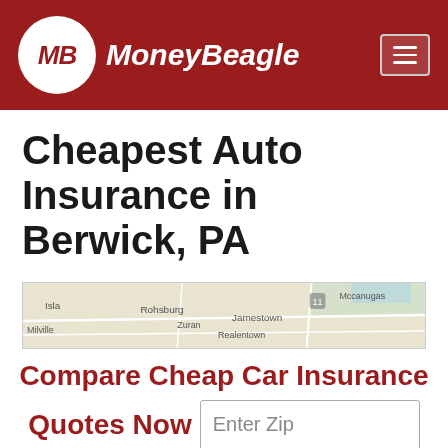[Figure (logo): MoneyBeagle logo: white circle with MB initials in dark red italic, followed by MoneyBeagle text in white italic bold, on dark red header background with hamburger menu icon]
Cheapest Auto Insurance in Berwick, PA
[Figure (map): Partial map showing area near Berwick PA with town names including Rohsburg, Zuran, Jamestown, Mccanugas, Isla, Milville, Realentown]
Compare Cheap Car Insurance Quotes Now
Enter Zip
Get Rates >